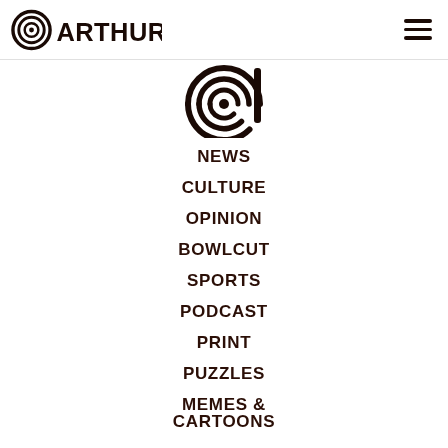aArthur (logo) | hamburger menu
[Figure (logo): Arthur magazine circular 'a' logo mark, large, centered near top of navigation drawer]
NEWS
CULTURE
OPINION
BOWLCUT
SPORTS
PODCAST
PRINT
PUZZLES
MEMES & CARTOONS